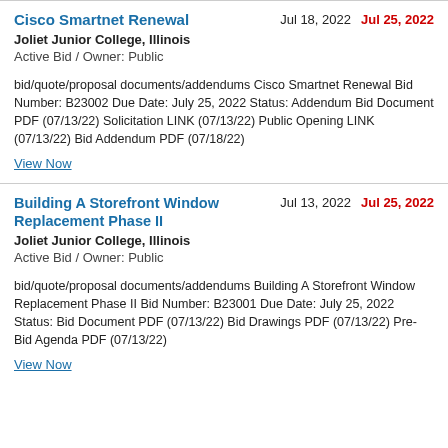Cisco Smartnet Renewal
Jul 18, 2022   Jul 25, 2022
Joliet Junior College, Illinois
Active Bid / Owner: Public
bid/quote/proposal documents/addendums Cisco Smartnet Renewal Bid Number: B23002 Due Date: July 25, 2022 Status: Addendum Bid Document PDF (07/13/22) Solicitation LINK (07/13/22) Public Opening LINK (07/13/22) Bid Addendum PDF (07/18/22)
View Now
Building A Storefront Window Replacement Phase II
Jul 13, 2022   Jul 25, 2022
Joliet Junior College, Illinois
Active Bid / Owner: Public
bid/quote/proposal documents/addendums Building A Storefront Window Replacement Phase II Bid Number: B23001 Due Date: July 25, 2022 Status: Bid Document PDF (07/13/22) Bid Drawings PDF (07/13/22) Pre-Bid Agenda PDF (07/13/22)
View Now